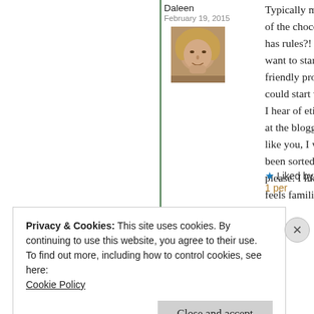Daleen
February 19, 2015
[Figure (photo): Small avatar photo of a woman with blonde hair resting her chin on her hand, sepia/monochrome tone]
Typically me, i of the chocolat has rules?! Oh c want to start a b friendly proce could start writ I hear of etiqu at the blogging like you, I wish been sorted) De please. I like yo feels familiar. S
★ Liked by 1 per
Privacy & Cookies: This site uses cookies. By continuing to use this website, you agree to their use.
To find out more, including how to control cookies, see here:
Cookie Policy
Close and accept